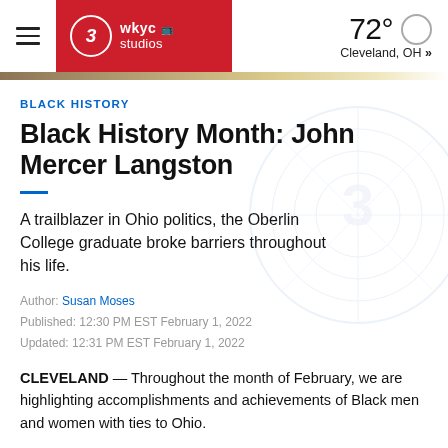3 wkyc studios — 72° Cleveland, OH »
BLACK HISTORY
Black History Month: John Mercer Langston
A trailblazer in Ohio politics, the Oberlin College graduate broke barriers throughout his life.
Author: Susan Moses
Published: 12:30 PM EST February 1, 2022
Updated: 12:31 PM EST February 1, 2022
CLEVELAND — Throughout the month of February, we are highlighting accomplishments and achievements of Black men and women with ties to Ohio.